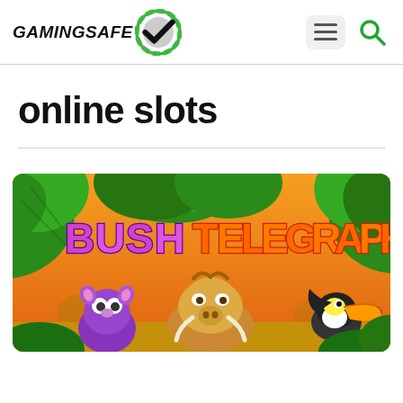GamingSafe
online slots
[Figure (illustration): Bush Telegraph online slot game banner featuring colorful cartoon jungle animals including a purple tarsier/mouse, a warthog, and a toucan bird, with tropical leaves and an orange sunset background. The game title 'BUSH TELEGRAPH' is displayed in large stylized letters at the top.]